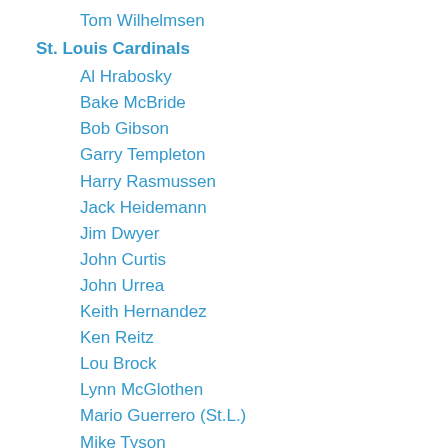Tom Wilhelmsen
St. Louis Cardinals
Al Hrabosky
Bake McBride
Bob Gibson
Garry Templeton
Harry Rasmussen
Jack Heidemann
Jim Dwyer
John Curtis
John Urrea
Keith Hernandez
Ken Reitz
Lou Brock
Lynn McGlothen
Mario Guerrero (St.L.)
Mike Tyson
Pedro Guerrero
Reggie Smith
Rich Folkers